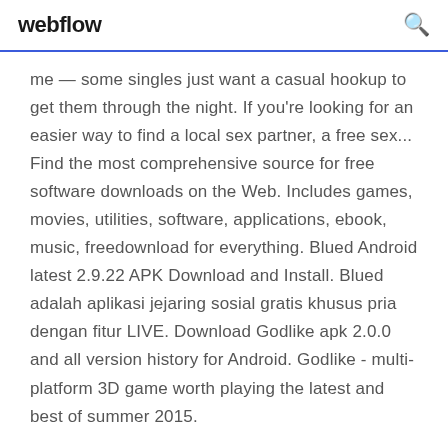webflow
me — some singles just want a casual hookup to get them through the night. If you're looking for an easier way to find a local sex partner, a free sex... Find the most comprehensive source for free software downloads on the Web. Includes games, movies, utilities, software, applications, ebook, music, freedownload for everything. Blued Android latest 2.9.22 APK Download and Install. Blued adalah aplikasi jejaring sosial gratis khusus pria dengan fitur LIVE. Download Godlike apk 2.0.0 and all version history for Android. Godlike - multi-platform 3D game worth playing the latest and best of summer 2015.